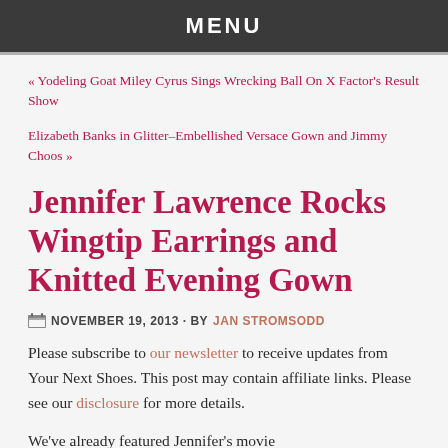MENU
« Yodeling Goat Miley Cyrus Sings Wrecking Ball On X Factor's Result Show
Elizabeth Banks in Glitter–Embellished Versace Gown and Jimmy Choos »
Jennifer Lawrence Rocks Wingtip Earrings and Knitted Evening Gown
NOVEMBER 19, 2013 · BY JAN STROMSODD
Please subscribe to our newsletter to receive updates from Your Next Shoes. This post may contain affiliate links. Please see our disclosure for more details.
We've already featured Jennifer's movie